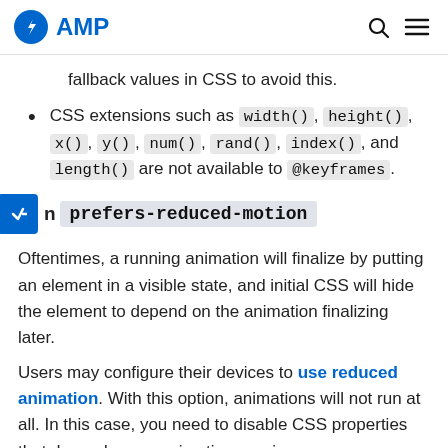AMP
fallback values in CSS to avoid this.
CSS extensions such as width(), height(), x(), y(), num(), rand(), index(), and length() are not available to @keyframes.
On prefers-reduced-motion
Oftentimes, a running animation will finalize by putting an element in a visible state, and initial CSS will hide the element to depend on the animation finalizing later.
Users may configure their devices to use reduced animation. With this option, animations will not run at all. In this case, you need to disable CSS properties that depend on an animation running